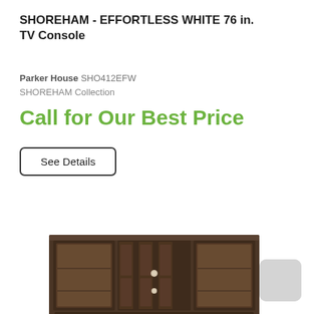SHOREHAM - EFFORTLESS WHITE 76 in. TV Console
Parker House SHO412EFW
SHOREHAM Collection
Call for Our Best Price
See Details
[Figure (photo): Dark walnut wood TV console with glass-paneled cabinet doors on each side, center decorative vertical panels with small round knobs, and open shelving in the middle. The piece is long and low-profile.]
[Figure (photo): Small light gray rounded rectangle thumbnail image, likely a color swatch or alternate product image.]